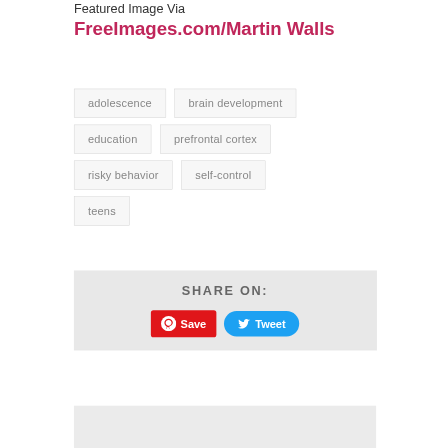Featured Image Via FreeImages.com/Martin Walls
adolescence
brain development
education
prefrontal cortex
risky behavior
self-control
teens
SHARE ON:
Save
Tweet